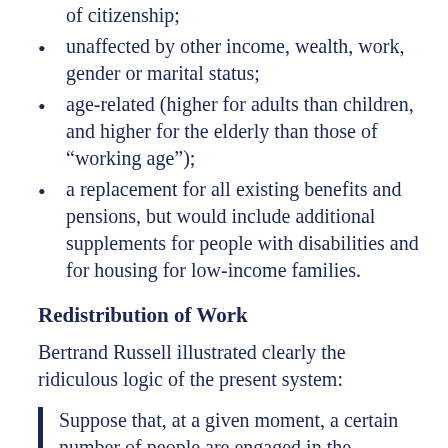of citizenship;
unaffected by other income, wealth, work, gender or marital status;
age-related (higher for adults than children, and higher for the elderly than those of “working age”);
a replacement for all existing benefits and pensions, but would include additional supplements for people with disabilities and for housing for low-income families.
Redistribution of Work
Bertrand Russell illustrated clearly the ridiculous logic of the present system:
Suppose that, at a given moment, a certain number of people are engaged in the manufacture of pins. They make as many pins as the world needs, working